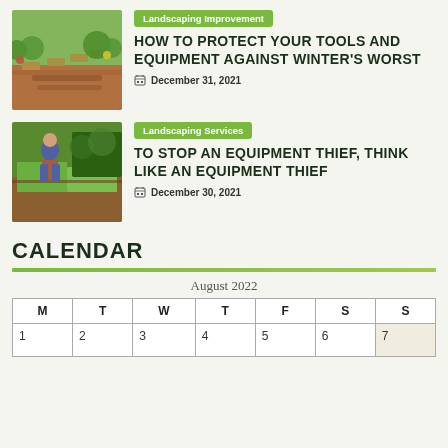[Figure (photo): Garden path with brick pavers and flowers]
Landscaping Improvement
HOW TO PROTECT YOUR TOOLS AND EQUIPMENT AGAINST WINTER'S WORST
December 31, 2021
[Figure (photo): Person laying sod/turf grass in garden]
Landscaping Services
TO STOP AN EQUIPMENT THIEF, THINK LIKE AN EQUIPMENT THIEF
December 30, 2021
CALENDAR
| M | T | W | T | F | S | S |
| --- | --- | --- | --- | --- | --- | --- |
| 1 | 2 | 3 | 4 | 5 | 6 | 7 |